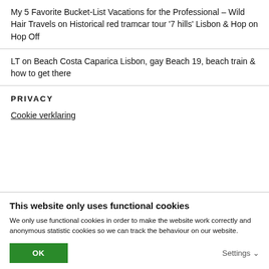My 5 Favorite Bucket-List Vacations for the Professional – Wild Hair Travels on Historical red tramcar tour '7 hills' Lisbon & Hop on Hop Off
LT on Beach Costa Caparica Lisbon, gay Beach 19, beach train & how to get there
PRIVACY
Cookie verklaring
This website only uses functional cookies
We only use functional cookies in order to make the website work correctly and anonymous statistic cookies so we can track the behaviour on our website.
OK
Settings